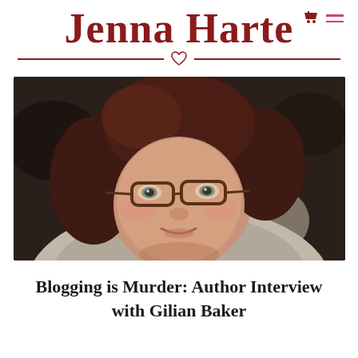Jenna Harte
[Figure (photo): Close-up portrait of a woman with short dark reddish-brown hair wearing glasses and a light grey coat, smiling slightly]
Blogging is Murder: Author Interview with Gilian Baker